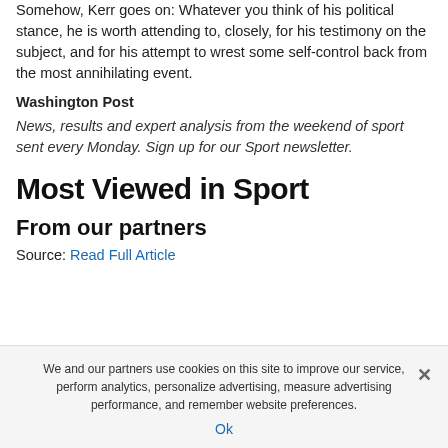Somehow, Kerr goes on: Whatever you think of his political stance, he is worth attending to, closely, for his testimony on the subject, and for his attempt to wrest some self-control back from the most annihilating event.
Washington Post
News, results and expert analysis from the weekend of sport sent every Monday. Sign up for our Sport newsletter.
Most Viewed in Sport
From our partners
Source: Read Full Article
We and our partners use cookies on this site to improve our service, perform analytics, personalize advertising, measure advertising performance, and remember website preferences.
Ok